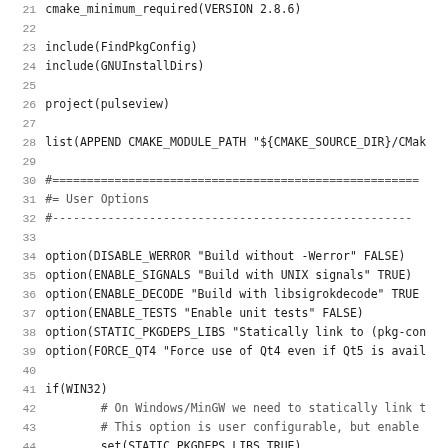[Figure (screenshot): Source code listing (CMakeLists.txt) showing lines 21-52 of a CMake build configuration file for the pulseview project. Lines include cmake_minimum_required, include statements, project definition, module path setup, comment section headers for User Options, option() calls for build flags, and an if(WIN32) block with static library and boost thread settings.]